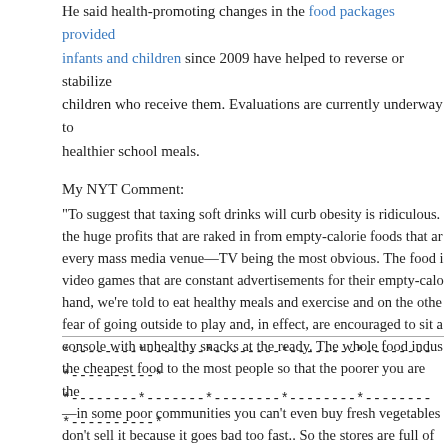He said health-promoting changes in the food packages provided infants and children since 2009 have helped to reverse or stabilize children who receive them. Evaluations are currently underway to healthier school meals.
My NYT Comment:
"To suggest that taxing soft drinks will curb obesity is ridiculous. the huge profits that are raked in from empty-calorie foods that ar every mass media venue—TV being the most obvious. The food i video games that are constant advertisements for their empty-calo hand, we're told to eat healthy meals and exercise and on the othe fear of going outside to play and, in effect, are encouraged to sit a console with unhealthy snacks at the ready. The whole food indus the cheapest food to the most people so that the poorer you are the —in some poor communities you can't even buy fresh vegetables don't sell it because it goes bad too fast.. So the stores are full of n it's served in the schools—hell, it's even served in hospitals! And makes big money for the profit-based health and insurance industi —Bonnie Weinstein
*--------*-------*--------*--------*--------*----------*
*--------*-------*--------*--------*--------*----------*